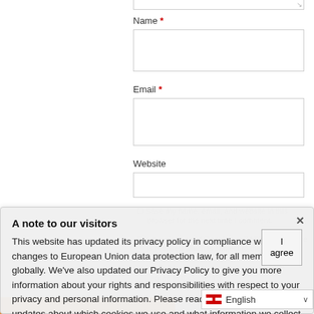Name *
[Figure (screenshot): Name input field (empty text box)]
Email *
[Figure (screenshot): Email input field (empty text box)]
Website
[Figure (screenshot): Website input field (empty text box)]
A note to our visitors
This website has updated its privacy policy in compliance with changes to European Union data protection law, for all members globally. We've also updated our Privacy Policy to give you more information about your rights and responsibilities with respect to your privacy and personal information. Please read this to review the updates about which cookies we use and what information we collect on our site. By continuing to use this site, you are agreeing to our updated privacy policy.